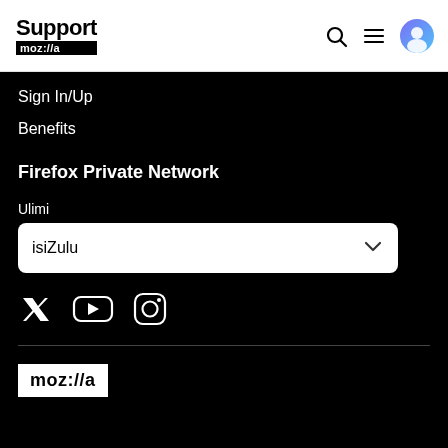Support mozilla Sign In/Up Benefits
Firefox Private Network
Ulimi
isiZulu
[Figure (logo): Social media icons: Twitter, YouTube, Instagram]
[Figure (logo): Mozilla logo: moz://a in white text on black background]